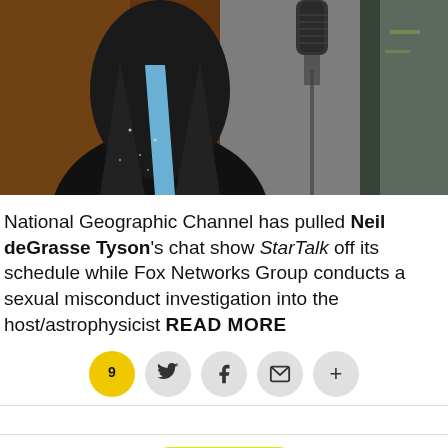[Figure (photo): Man in dark suit with sparkles standing next to a studio microphone on a stand, orange/dark background]
National Geographic Channel has pulled Neil deGrasse Tyson's chat show StarTalk off its schedule while Fox Networks Group conducts a sexual misconduct investigation into the host/astrophysicist READ MORE
[Figure (infographic): Social sharing bar with comment count 9 (yellow speech bubble), Twitter, Facebook, Email, and plus icons]
COMIC-CON
Ash vs. Evil Dead Cast Tease 'Epic,